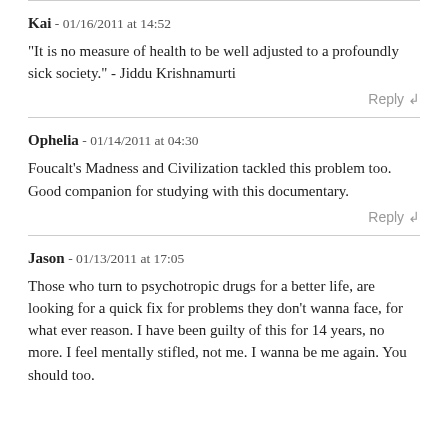Kai - 01/16/2011 at 14:52
"It is no measure of health to be well adjusted to a profoundly sick society." - Jiddu Krishnamurti
Reply ↲
Ophelia - 01/14/2011 at 04:30
Foucalt's Madness and Civilization tackled this problem too. Good companion for studying with this documentary.
Reply ↲
Jason - 01/13/2011 at 17:05
Those who turn to psychotropic drugs for a better life, are looking for a quick fix for problems they don't wanna face, for what ever reason. I have been guilty of this for 14 years, no more. I feel mentally stifled, not me. I wanna be me again. You should too.